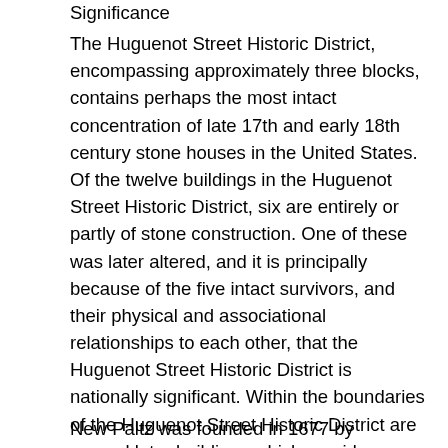Significance
The Huguenot Street Historic District, encompassing approximately three blocks, contains perhaps the most intact concentration of late 17th and early 18th century stone houses in the United States. Of the twelve buildings in the Huguenot Street Historic District, six are entirely or partly of stone construction. One of these was later altered, and it is principally because of the five intact survivors, and their physical and associational relationships to each other, that the Huguenot Street Historic District is nationally significant. Within the boundaries of the Huguenot Street Historic District are several later buildings which provide an appropriate setting for the nationally significant Huguenot buildings and contribute to the district because of their State or local architectural significance.
New Paltz was founded in 1677 by Huguenots who